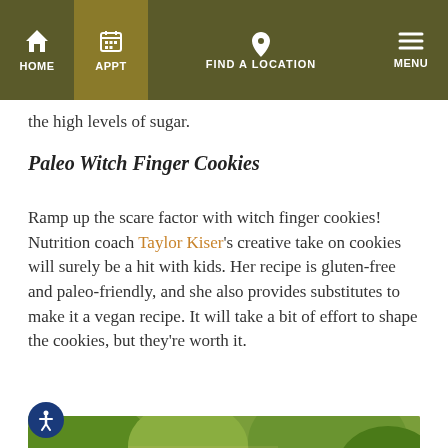HOME  APPT  FIND A LOCATION  MENU
the high levels of sugar.
Paleo Witch Finger Cookies
Ramp up the scare factor with witch finger cookies! Nutrition coach Taylor Kiser's creative take on cookies will surely be a hit with kids. Her recipe is gluten-free and paleo-friendly, and she also provides substitutes to make it a vegan recipe. It will take a bit of effort to shape the cookies, but they're worth it.
[Figure (photo): Three young girls outdoors in a sunny park setting, one eating an ice cream cone]